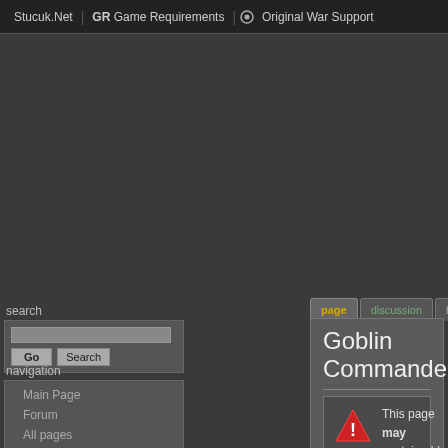Stucuk.Net | GR Game Requirements | Original War Support
Log in / create account
search
navigation
Main Page
Forum
All pages
Categories
Recent changes
Random page
Help Section
atlantica online
Artwork
Goblin Commander
This page may contain old information that is nolonger relevent and it requires a review.